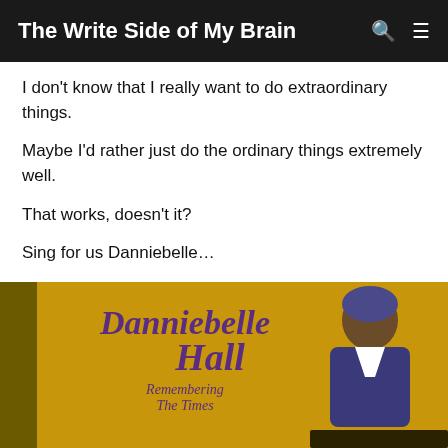The Write Side of My Brain
I don't know that I really want to do extraordinary things.
Maybe I'd rather just do the ordinary things extremely well.
That works, doesn't it?
Sing for us Danniebelle…
[Figure (photo): Album cover for Danniebelle Hall 'Remembering The Times' — woman in blue floral jacket and headwrap against a yellow/gold background, with purple script text of the artist and album name. Dark gold/olive border surrounds the cover.]